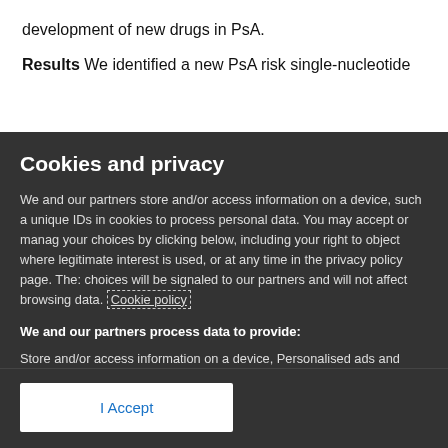development of new drugs in PsA.
Results We identified a new PsA risk single-nucleotide
Cookies and privacy
We and our partners store and/or access information on a device, such a unique IDs in cookies to process personal data. You may accept or manage your choices by clicking below, including your right to object where legitimate interest is used, or at any time in the privacy policy page. These choices will be signaled to our partners and will not affect browsing data. Cookie policy
We and our partners process data to provide:
Store and/or access information on a device, Personalised ads and content, ad and content measurement, audience insights and product development, Use precise geolocation data, Actively scan device characteristics for identification
List of Partners (vendors)
I Accept